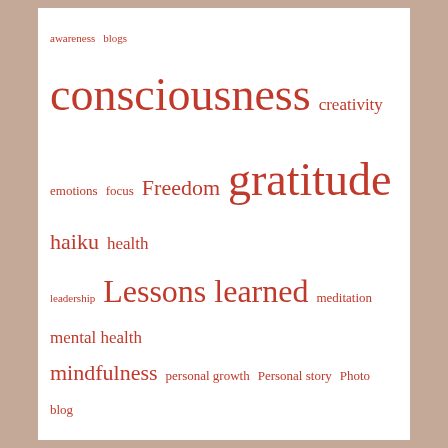[Figure (infographic): Tag cloud with words in varying sizes in red/crimson color: awareness, blogs, consciousness, creativity, emotions, focus, Freedom, gratitude, haiku, health, leadership, Lessons learned, meditation, mental health, mindfulness, personal growth, Personal story, Photo blog, psychology, Reflection, relationships, spirituality, teaching, truth, values, wellness, wisdom, work, writing, yoga]
mexi minnesotana Archives
Select Month (dropdown)